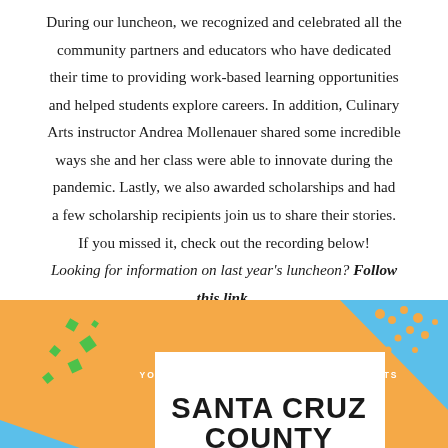During our luncheon, we recognized and celebrated all the community partners and educators who have dedicated their time to providing work-based learning opportunities and helped students explore careers. In addition, Culinary Arts instructor Andrea Mollenauer shared some incredible ways she and her class were able to innovate during the pandemic. Lastly, we also awarded scholarships and had a few scholarship recipients join us to share their stories. If you missed it, check out the recording below! Looking for information on last year's luncheon? Follow this link.
[Figure (illustration): Event banner with orange and blue background. Text reads 'YOUR FUTURE IS OUR BUSINESS PRESENTS' and 'SANTA CRUZ COUNTY' in bold black text on white panel. Green diamond confetti shapes on left, orange dot clusters on right.]